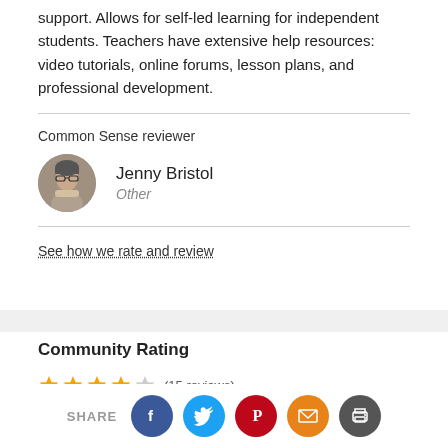support. Allows for self-led learning for independent students. Teachers have extensive help resources: video tutorials, online forums, lesson plans, and professional development.
Common Sense reviewer
[Figure (photo): Round avatar photo of Jenny Bristol, a woman with glasses]
Jenny Bristol
Other
See how we rate and review
Community Rating
(15 reviews)